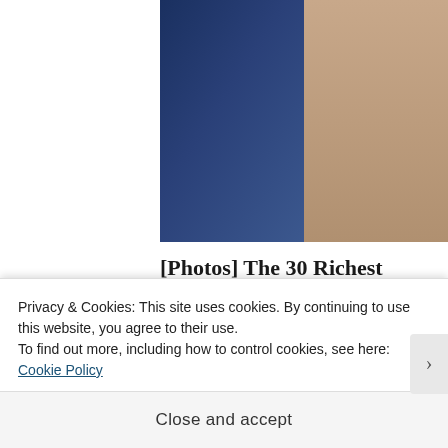[Figure (photo): Photo of a couple: a man in a dark blue suit with a light tie on the left, and a woman in a beige lace outfit with a pink flower accessory on the right]
[Photos] The 30 Richest Men Alive And Their Wives
Bon Voyaged
[Figure (photo): Close-up photo of a potato or onion growing through metal bars/fence, on a wooden surface]
Privacy & Cookies: This site uses cookies. By continuing to use this website, you agree to their use.
To find out more, including how to control cookies, see here: Cookie Policy
Close and accept